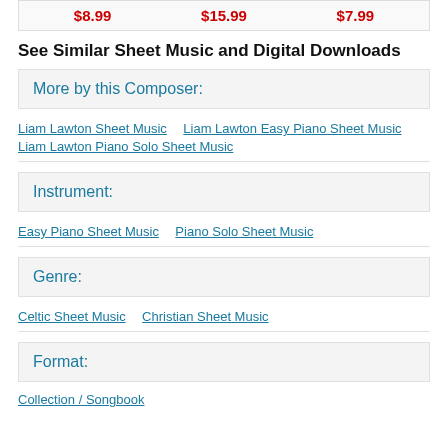| Price1 | Price2 | Price3 |
| --- | --- | --- |
| $8.99 | $15.99 | $7.99 |
See Similar Sheet Music and Digital Downloads
More by this Composer:
Liam Lawton Sheet Music
Liam Lawton Easy Piano Sheet Music
Liam Lawton Piano Solo Sheet Music
Instrument:
Easy Piano Sheet Music
Piano Solo Sheet Music
Genre:
Celtic Sheet Music
Christian Sheet Music
Format:
Collection / Songbook